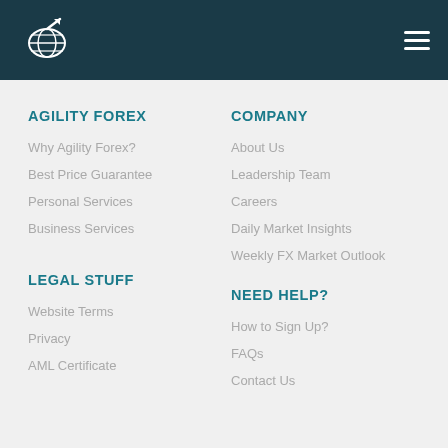Agility Forex navigation header with logo and hamburger menu
AGILITY FOREX
Why Agility Forex?
Best Price Guarantee
Personal Services
Business Services
COMPANY
About Us
Leadership Team
Careers
Daily Market Insights
Weekly FX Market Outlook
LEGAL STUFF
Website Terms
Privacy
AML Certificate
NEED HELP?
How to Sign Up?
FAQs
Contact Us